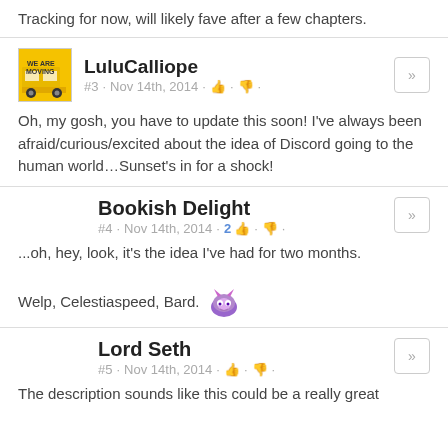Tracking for now, will likely fave after a few chapters.
LuluCalliope
#3 · Nov 14th, 2014 · 👍 · 👎 ·
Oh, my gosh, you have to update this soon! I've always been afraid/curious/excited about the idea of Discord going to the human world…Sunset's in for a shock!
Bookish Delight
#4 · Nov 14th, 2014 · 2 👍 · 👎 ·
...oh, hey, look, it's the idea I've had for two months.
Welp, Celestiaspeed, Bard. 🦄
Lord Seth
#5 · Nov 14th, 2014 · 👍 · 👎 ·
The description sounds like this could be a really great